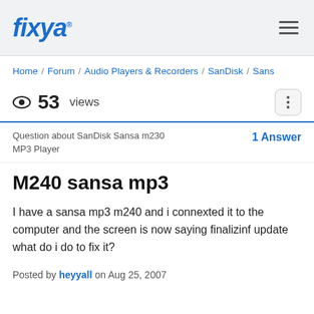fixya
Home / Forum / Audio Players & Recorders / SanDisk / Sans...
53 views
Question about SanDisk Sansa m230 MP3 Player
1 Answer
M240 sansa mp3
I have a sansa mp3 m240 and i connexted it to the computer and the screen is now saying finalizinf update what do i do to fix it?
Posted by heyyall on Aug 25, 2007